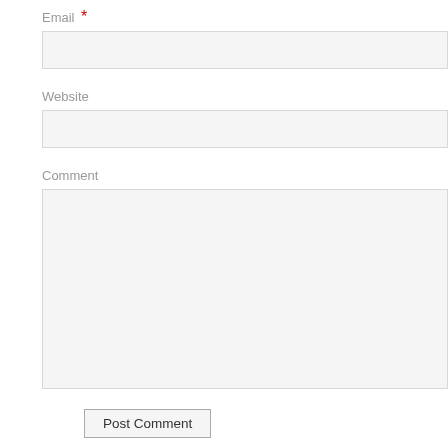Email *
Website
Comment
Post Comment